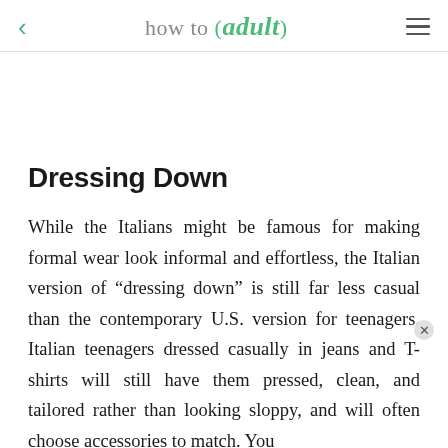how to (adult)
Dressing Down
While the Italians might be famous for making formal wear look informal and effortless, the Italian version of “dressing down” is still far less casual than the contemporary U.S. version for teenagers. Italian teenagers dressed casually in jeans and T-shirts will still have them pressed, clean, and tailored rather than looking sloppy, and will often choose accessories to match. You